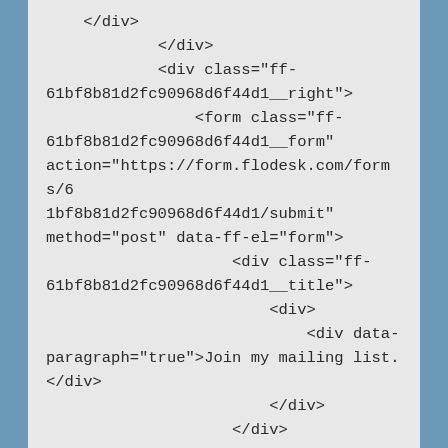</div>
            </div>
            <div class="ff-61bf8b81d2fc90968d6f44d1__right">
                <form class="ff-61bf8b81d2fc90968d6f44d1__form" action="https://form.flodesk.com/forms/61bf8b81d2fc90968d6f44d1/submit" method="post" data-ff-el="form">
                    <div class="ff-61bf8b81d2fc90968d6f44d1__title">
                        <div>
                            <div data-paragraph="true">Join my mailing list.</div>
                        </div>
                    </div>
                </div>